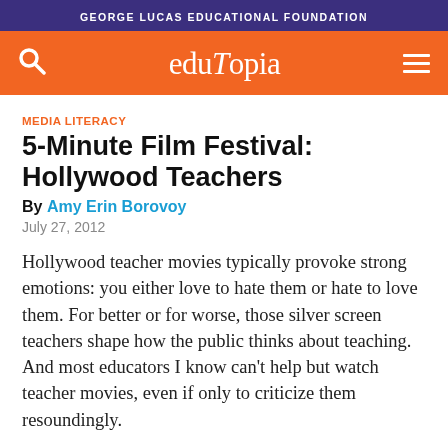GEORGE LUCAS EDUCATIONAL FOUNDATION
[Figure (logo): Edutopia logo on orange navigation bar with search icon and hamburger menu]
MEDIA LITERACY
5-Minute Film Festival: Hollywood Teachers
By Amy Erin Borovoy
July 27, 2012
Hollywood teacher movies typically provoke strong emotions: you either love to hate them or hate to love them. For better or for worse, those silver screen teachers shape how the public thinks about teaching. And most educators I know can't help but watch teacher movies, even if only to criticize them resoundingly.